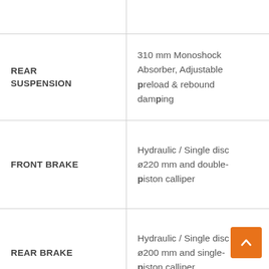| Feature | Specification |
| --- | --- |
| REAR SUSPENSION | 310 mm Monoshock Absorber, Adjustable preload & rebound damping |
| FRONT BRAKE | Hydraulic / Single disc ø220 mm and double-piston calliper |
| REAR BRAKE | Hydraulic / Single disc ø200 mm and single-piston calliper |
| FRONT RIM | 2.15×12" |
|  |  |